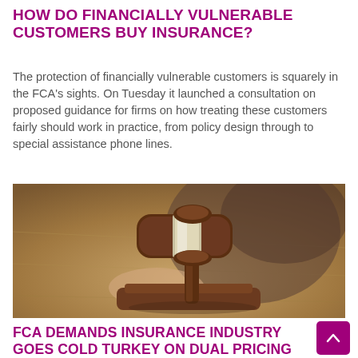HOW DO FINANCIALLY VULNERABLE CUSTOMERS BUY INSURANCE?
The protection of financially vulnerable customers is squarely in the FCA's sights. On Tuesday it launched a consultation on proposed guidance for firms on how treating these customers fairly should work in practice, from policy design through to special assistance phone lines.
[Figure (photo): A judge's wooden gavel resting on a sound block, with a blurred figure wearing dark robes in the background on a wooden surface.]
FCA DEMANDS INSURANCE INDUSTRY GOES COLD TURKEY ON DUAL PRICING
Consumer Intelligence welcomes the announcement from the FCA today as a major reset of confidence and trust in the